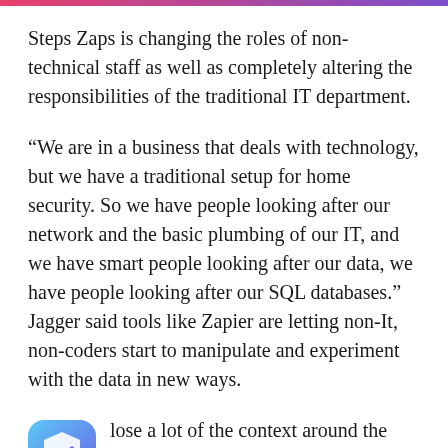Steps Zaps is changing the roles of non-technical staff as well as completely altering the responsibilities of the traditional IT department.
“We are in a business that deals with technology, but we have a traditional setup for home security. So we have people looking after our network and the basic plumbing of our IT, and we have smart people looking after our data, we have people looking after our SQL databases.” Jagger said tools like Zapier are letting non-It, non-coders start to manipulate and experiment with the data in new ways.
lose a lot of the context around the data, the people are involved,” he said. “In the past, the